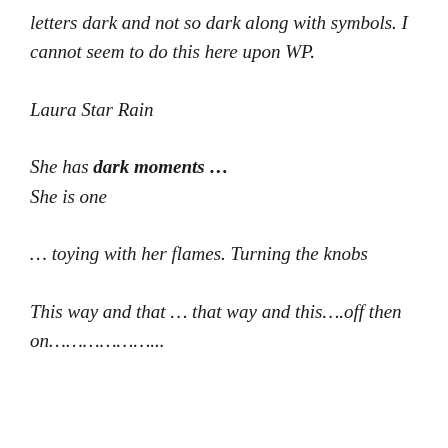letters dark and not so dark along with symbols. I cannot seem to do this here upon WP.
Laura Star Rain
She has dark moments … She is one
… toying with her flames. Turning the knobs
This way and that … that way and this….off then on………………..